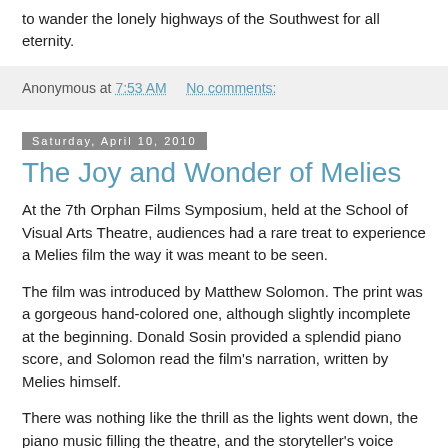to wander the lonely highways of the Southwest for all eternity.
Anonymous at 7:53 AM   No comments:
Saturday, April 10, 2010
The Joy and Wonder of Melies
At the 7th Orphan Films Symposium, held at the School of Visual Arts Theatre, audiences had a rare treat to experience a Melies film the way it was meant to be seen.
The film was introduced by Matthew Solomon. The print was a gorgeous hand-colored one, although slightly incomplete at the beginning. Donald Sosin provided a splendid piano score, and Solomon read the film's narration, written by Melies himself.
There was nothing like the thrill as the lights went down, the piano music filling the theatre, and the storyteller's voice